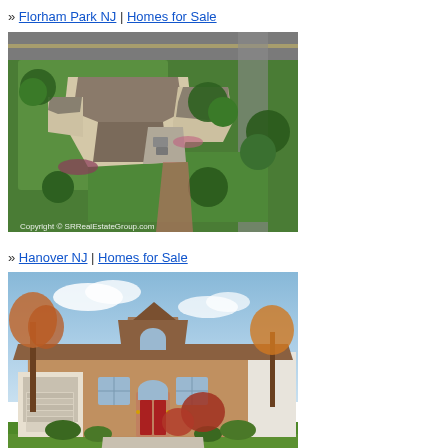» Florham Park NJ | Homes for Sale
[Figure (photo): Aerial view of a large residential home with gray roof, green lawn, and surrounding trees. Watermark: Copyright © SRRealEstateGroup.com]
» Hanover NJ | Homes for Sale
[Figure (photo): Front exterior view of a brick colonial home with red door, arched window, attached garage, fall foliage trees and blue sky.]